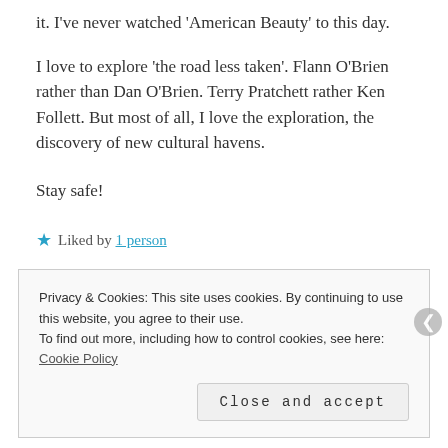it. I've never watched 'American Beauty' to this day.
I love to explore 'the road less taken'. Flann O'Brien rather than Dan O'Brien. Terry Pratchett rather Ken Follett. But most of all, I love the exploration, the discovery of new cultural havens.
Stay safe!
★ Liked by 1 person
↩ Reply
Privacy & Cookies: This site uses cookies. By continuing to use this website, you agree to their use.
To find out more, including how to control cookies, see here: Cookie Policy
Close and accept